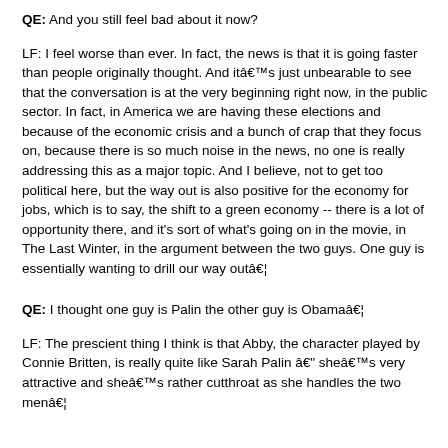QE: And you still feel bad about it now?
LF: I feel worse than ever. In fact, the news is that it is going faster than people originally thought. And itâ€™s just unbearable to see that the conversation is at the very beginning right now, in the public sector. In fact, in America we are having these elections and because of the economic crisis and a bunch of crap that they focus on, because there is so much noise in the news, no one is really addressing this as a major topic. And I believe, not to get too political here, but the way out is also positive for the economy for jobs, which is to say, the shift to a green economy -- there is a lot of opportunity there, and it's sort of what's going on in the movie, in The Last Winter, in the argument between the two guys. One guy is essentially wanting to drill our way outâ€¦
QE: I thought one guy is Palin the other guy is Obamaâ€¦
LF: The prescient thing I think is that Abby, the character played by Connie Britten, is really quite like Sarah Palin â€" sheâ€™s very attractive and sheâ€™s rather cutthroat as she handles the two menâ€¦